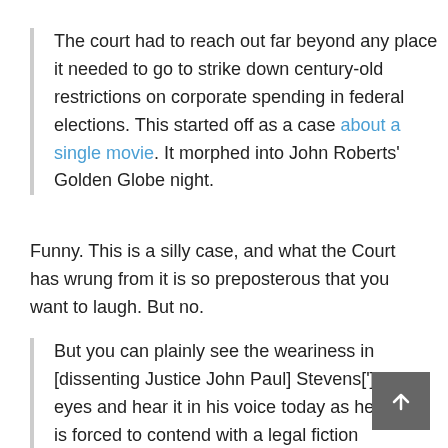The court had to reach out far beyond any place it needed to go to strike down century-old restrictions on corporate spending in federal elections. This started off as a case about a single movie. It morphed into John Roberts' Golden Globe night.
Funny. This is a silly case, and what the Court has wrung from it is so preposterous that you want to laugh. But no.
But you can plainly see the weariness in [dissenting Justice John Paul] Stevens['] eyes and hear it in his voice today as he is forced to contend with a legal fiction that has come to life today, a sort of constitutional Frankenstein moment when corporate speech becomes even more compelling than the